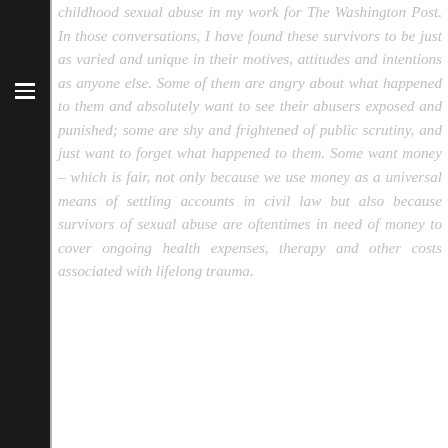childhood sexual abuse in my work for The Washington Post. In those conversations, I have found these survivors to be just as varied and unique in their motives, attitudes and intentions as anyone else. Some of them are angry about what happened to them and absolutely want to see their abusers exposed and punished; some are shy and frightened of public scrutiny, and just want to forget what happened to them. Some want money – which is fair, not only because we use money as a universal means of settling accounts in civil law but also because survivors of sexual abuse are oftentimes in need of money to cover ongoing health expenses, therapy and other costs associated with lifelong trauma.